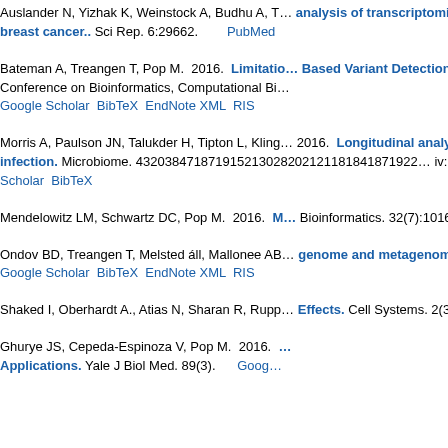Auslander N, Yizhak K, Weinstock A, Budhu A, T… analysis of transcriptomic and metabolomic d… breast cancer.. Sci Rep. 6:29662. PubMed
Bateman A, Treangen T, Pop M. 2016. Limitatio… Based Variant Detection. the 7th ACM Internati… Conference on Bioinformatics, Computational Bi… Google Scholar BibTeX EndNote XML RIS
Morris A, Paulson JN, Talukder H, Tipton L, Kling… 2016. Longitudinal analysis of the lung micr… infection. Microbiome. 432038471871915213028202121181841871922… iv:1006.3316) DOI Google Scholar BibTeX
Mendelowitz LM, Schwartz DC, Pop M. 2016. M… Bioinformatics. 32(7):1016-22. PubMed DOI
Ondov BD, Treangen T, Melsted áll, Mallonee AB… genome and metagenome distance estimation… Google Scholar BibTeX EndNote XML RIS
Shaked I, Oberhardt A., Atias N, Sharan R, Rupp… Effects. Cell Systems. 2(3):209-213. DOI G
Ghurye JS, Cepeda-Espinoza V, Pop M. 2016. … Applications. Yale J Biol Med. 89(3). Goog…